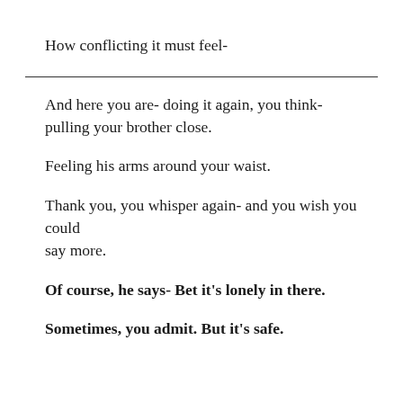How conflicting it must feel-
And here you are- doing it again, you think- pulling your brother close.
Feeling his arms around your waist.
Thank you, you whisper again- and you wish you could say more.
Of course, he says- Bet it’s lonely in there.
Sometimes, you admit. But it’s safe.